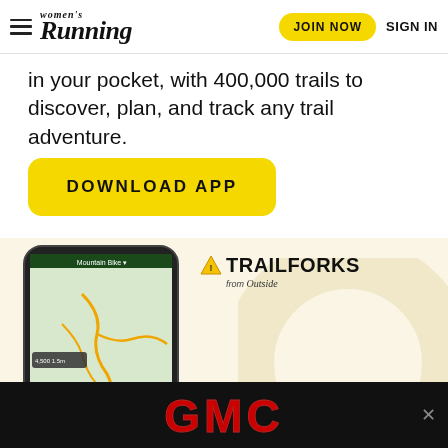Women's Running | JOIN NOW | SIGN IN
in your pocket, with 400,000 trails to discover, plan, and track any trail adventure.
DOWNLOAD APP
[Figure (screenshot): Trailforks app advertisement showing a smartphone with trail map and the Trailforks from Outside logo]
[Figure (logo): GMC advertisement banner at the bottom of the page]